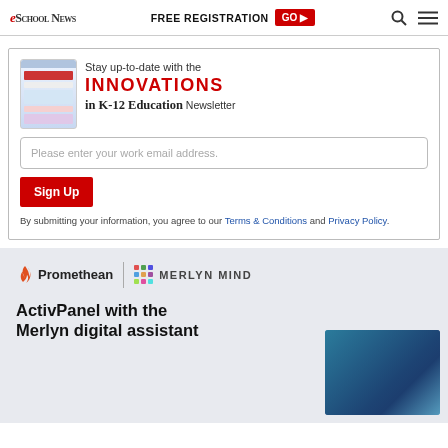eSchool News | FREE REGISTRATION GO
[Figure (infographic): Newsletter signup box: Stay up-to-date with the INNOVATIONS in K-12 Education Newsletter. Email input field and Sign Up button. Terms & Conditions and Privacy Policy links.]
By submitting your information, you agree to our Terms & Conditions and Privacy Policy.
[Figure (infographic): Advertisement banner: Promethean and Merlyn Mind logos. Text: ActivPanel with the Merlyn digital assistant]